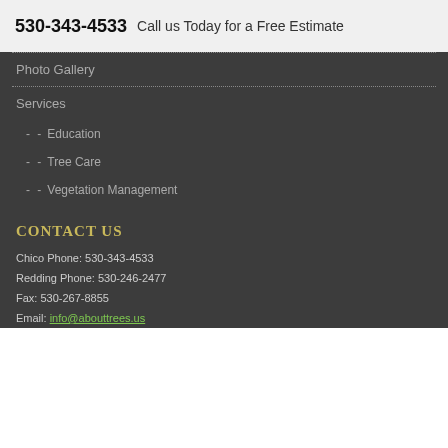530-343-4533  Call us Today for a Free Estimate
Photo Gallery
Services
- Education
- Tree Care
- Vegetation Management
CONTACT US
Chico Phone: 530-343-4533
Redding Phone: 530-246-2477
Fax: 530-267-8855
Email: info@abouttrees.us